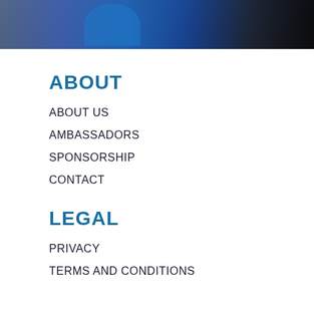[Figure (photo): Partial photo of a person in a blue shirt, likely in a gym or sports setting, cropped at the top of the page]
ABOUT
ABOUT US
AMBASSADORS
SPONSORSHIP
CONTACT
LEGAL
PRIVACY
TERMS AND CONDITIONS